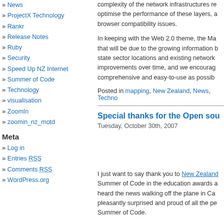» News
» ProjectX Technology
» Rankr
» Release Notes
» Ruby
» Security
» Speed Up NZ Internet
» Summer of Code
» Technology
» visualisation
» ZoomIn
» zoomin_nz_motd
Meta
» Log in
» Entries RSS
» Comments RSS
» WordPress.org
complexity of the network infrastructures re optimise the performance of these layers, a browser compatibility issues.
In keeping with the Web 2.0 theme, the Ma that will be due to the growing information b state sector locations and existing network improvements over time, and we encourag comprehensive and easy-to-use as possib
Posted in mapping, New Zealand, News, Techno
Special thanks for the Open sou
Tuesday, October 30th, 2007
I just want to say thank you to New Zealand Summer of Code in the education awards a heard the news walking off the plane in Ca pleasantly surprised and proud of all the pe Summer of Code.